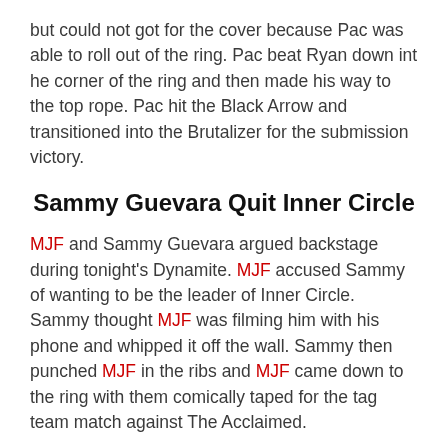but could not got for the cover because Pac was able to roll out of the ring. Pac beat Ryan down int he corner of the ring and then made his way to the top rope. Pac hit the Black Arrow and transitioned into the Brutalizer for the submission victory.
Sammy Guevara Quit Inner Circle
MJF and Sammy Guevara argued backstage during tonight's Dynamite. MJF accused Sammy of wanting to be the leader of Inner Circle. Sammy thought MJF was filming him with his phone and whipped it off the wall. Sammy then punched MJF in the ribs and MJF came down to the ring with them comically taped for the tag team match against The Acclaimed.
MJF rolled out of the ring to sell the rib injury and Jericho tagged in. Max Caster leveled Jericho with a shoulder tackle and tagged in Anthony Bowens. Jericho retreated to the corner and tagged in MJF. Bowens slammed MJF on his ribs and went for the cover but MJF was able to